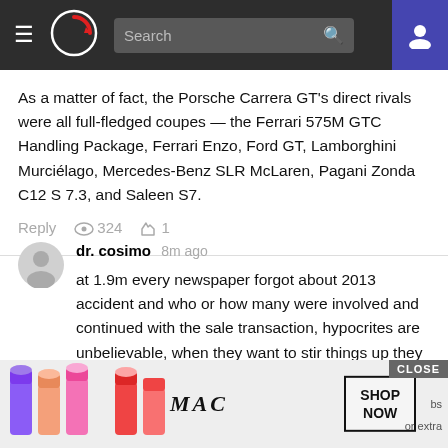Navigation bar with hamburger menu, logo, search box, and user icon
As a matter of fact, the Porsche Carrera GT's direct rivals were all full-fledged coupes — the Ferrari 575M GTC Handling Package, Ferrari Enzo, Ford GT, Lamborghini Murciélago, Mercedes-Benz SLR McLaren, Pagani Zonda C12 S 7.3, and Saleen S7.
Reply  324  1
dr. cosimo 8m ago
at 1.9m every newspaper forgot about 2013 accident and who or how many were involved and continued with the sale transaction, hypocrites are unbelievable, when they want to stir things up they will use every mean to squeeze every last cent in court rooms, it's c'est la vie after all :)
https://www.bloomberg.com/news/articles/2022-01-05/porsche-carrera-gt-sells-for-1-9-million-on-bring-a-trailer
[Figure (photo): Advertisement banner: MAC cosmetics lipsticks on the left, MAC logo in center, SHOP NOW button on right, CLOSE button top-right of ad area]